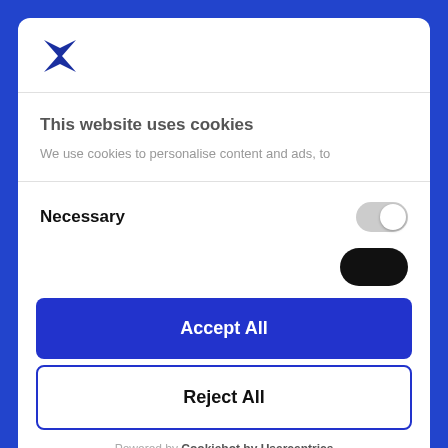[Figure (logo): Blue bowtie/hourglass shaped logo icon]
This website uses cookies
We use cookies to personalise content and ads, to
Necessary
[Figure (other): Toggle switch in off (gray) position]
[Figure (other): Partially visible dark toggle switch]
Accept All
Reject All
Powered by Cookiebot by Usercentrics